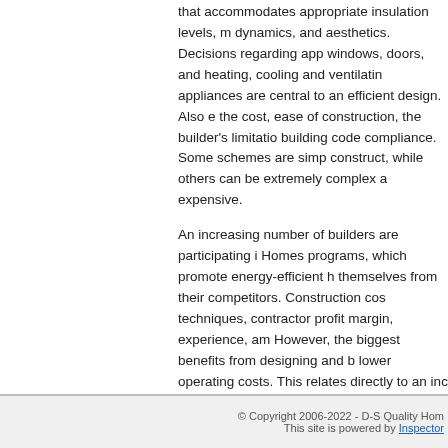that accommodates appropriate insulation levels, m dynamics, and aesthetics. Decisions regarding app windows, doors, and heating, cooling and ventilatin appliances are central to an efficient design. Also e the cost, ease of construction, the builder's limitatio building code compliance. Some schemes are simp construct, while others can be extremely complex a expensive.
An increasing number of builders are participating i Homes programs, which promote energy-efficient h themselves from their competitors. Construction cos techniques, contractor profit margin, experience, am However, the biggest benefits from designing and b lower operating costs. This relates directly to an inc
Previous page: Building a Home
Next page: Residential Foundation Insulation
© Copyright 2006-2022 - D-S Quality Hom
This site is powered by Inspector